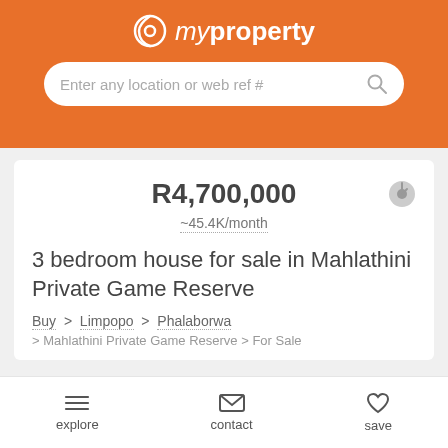myproperty
Enter any location or web ref #
R4,700,000
~45.4K/month
3 bedroom house for sale in Mahlathini Private Game Reserve
Buy > Limpopo > Phalaborwa
> Mahlathini Private Game Reserve > For Sale
explore   contact   save